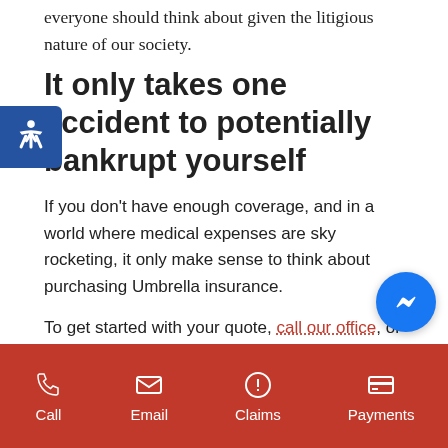everyone should think about given the litigious nature of our society.
It only takes one accident to potentially bankrupt yourself
If you don't have enough coverage, and in a world where medical expenses are sky rocketing, it only make sense to think about purchasing Umbrella insurance.
To get started with your quote, call our office, or click over to our quotes page and our team will shop the marketplace to see who offers the best coverage.
Call  Email  Claims  Payments